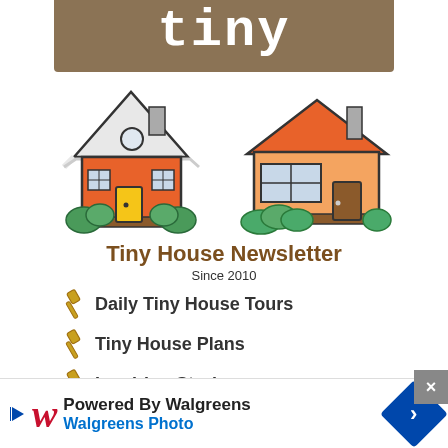tiny
[Figure (illustration): Two cartoon tiny houses side by side — a smaller orange house with white-trimmed pitched roof, circular window, yellow door, and green bushes on the left; and a larger orange house with red roof, chimney, large window, small door, and green bushes on the right.]
Tiny House Newsletter
Since 2010
Daily Tiny House Tours
Tiny House Plans
Inspiring Stories
[Figure (infographic): Walgreens Photo advertisement banner at bottom: 'Powered By Walgreens' with Walgreens W logo, 'Walgreens Photo' in blue, and a blue diamond-shaped arrow icon on the right.]